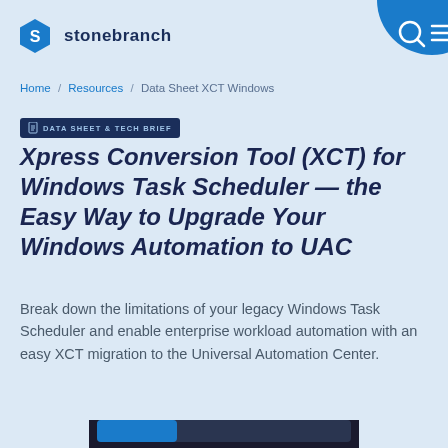stonebranch
Home / Resources / Data Sheet XCT Windows
DATA SHEET & TECH BRIEF  Xpress Conversion Tool (XCT) for Windows Task Scheduler — the Easy Way to Upgrade Your Windows Automation to UAC
Break down the limitations of your legacy Windows Task Scheduler and enable enterprise workload automation with an easy XCT migration to the Universal Automation Center.
[Figure (screenshot): Bottom portion of a device/laptop mockup screen partially visible at bottom of page]